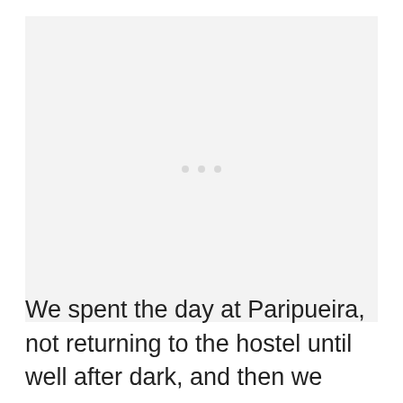[Figure (photo): Large image placeholder area with light gray background and three light gray dots centered, indicating a loading or blank image area.]
We spent the day at Paripueira, not returning to the hostel until well after dark, and then we